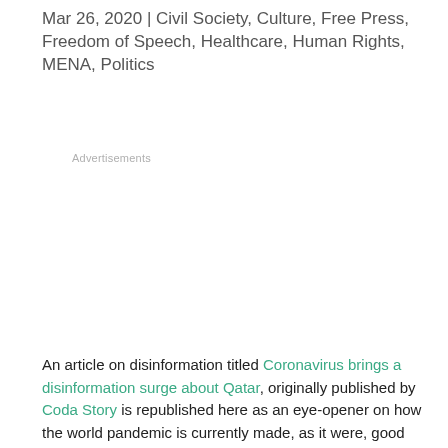Mar 26, 2020 | Civil Society, Culture, Free Press, Freedom of Speech, Healthcare, Human Rights, MENA, Politics
Advertisements
An article on disinformation titled Coronavirus brings a disinformation surge about Qatar, originally published by Coda Story is republished here as an eye-opener on how the world pandemic is currently made, as it were, good use of in the MENA's Gulf region.